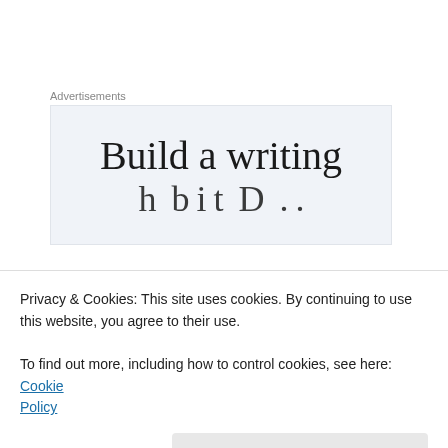Advertisements
[Figure (illustration): Advertisement box with light blue-grey background showing large serif text 'Build a writing' and partial second line below]
Sponsored Content
Privacy & Cookies: This site uses cookies. By continuing to use this website, you agree to their use.
To find out more, including how to control cookies, see here: Cookie Policy
Close and accept
[Photos] Meet The Girlfriends